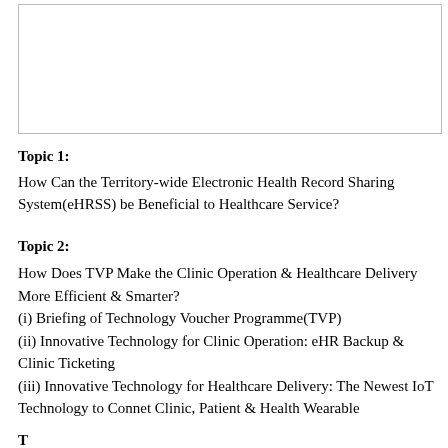[Figure (other): Empty white box with border, likely a placeholder image or diagram area]
Topic 1:
How Can the Territory-wide Electronic Health Record Sharing System(eHRSS) be Beneficial to Healthcare Service?
Topic 2:
How Does TVP Make the Clinic Operation & Healthcare Delivery More Efficient & Smarter?
(i) Briefing of Technology Voucher Programme(TVP)
(ii) Innovative Technology for Clinic Operation: eHR Backup & Clinic Ticketing
(iii) Innovative Technology for Healthcare Delivery: The Newest IoT Technology to Connet Clinic, Patient & Health Wearable
Topic 3: